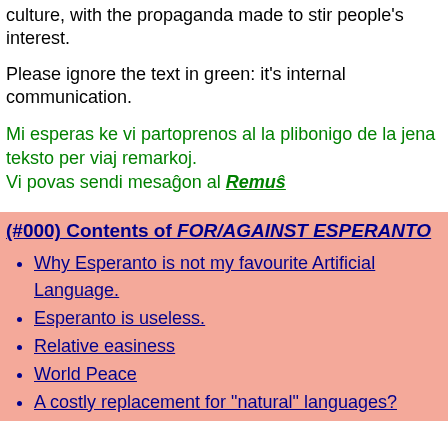culture, with the propaganda made to stir people's interest.
Please ignore the text in green: it's internal communication.
Mi esperas ke vi partoprenos al la plibonigo de la jena teksto per viaj remarkoj.
Vi povas sendi mesaĝon al Remuŝ
(#000) Contents of FOR/AGAINST ESPERANTO
Why Esperanto is not my favourite Artificial Language.
Esperanto is useless.
Relative easiness
World Peace
A costly replacement for "natural" languages?